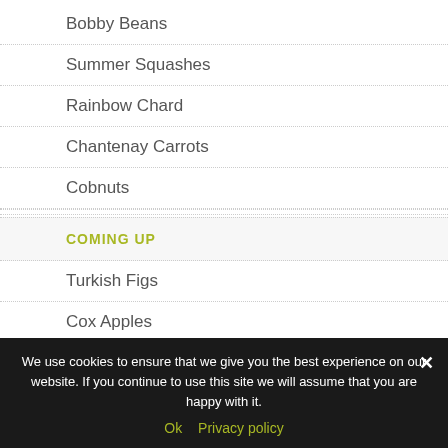Bobby Beans
Summer Squashes
Rainbow Chard
Chantenay Carrots
Cobnuts
COMING UP
Turkish Figs
Cox Apples
Damsons
We use cookies to ensure that we give you the best experience on our website. If you continue to use this site we will assume that you are happy with it.
Ok   Privacy policy